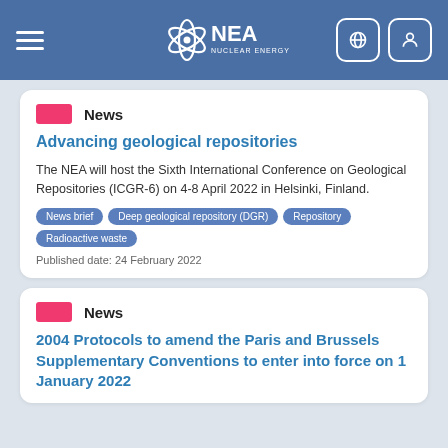NEA Nuclear Energy Agency
News
Advancing geological repositories
The NEA will host the Sixth International Conference on Geological Repositories (ICGR-6) on 4-8 April 2022 in Helsinki, Finland.
News brief
Deep geological repository (DGR)
Repository
Radioactive waste
Published date: 24 February 2022
News
2004 Protocols to amend the Paris and Brussels Supplementary Conventions to enter into force on 1 January 2022